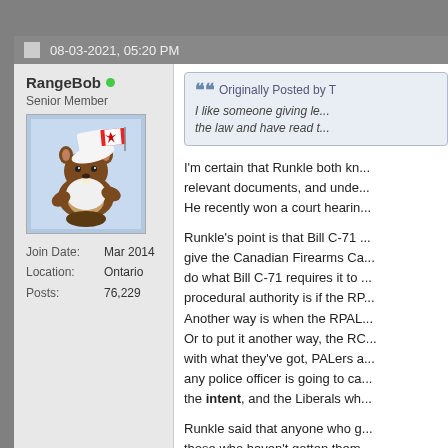08-03-2021, 05:20 PM
RangeBob
Senior Member
[Figure (illustration): Cartoon beaver wearing a white hat and holding a Canadian maple leaf flag]
Join Date: Mar 2014
Location: Ontario
Posts: 76,229
Originally Posted by T
I like someone giving le... the law and have read t...
I'm certain that Runkle both kn... relevant documents, and unde... He recently won a court hearin...

Runkle's point is that Bill C-71 ... give the Canadian Firearms Ca... do what Bill C-71 requires it to ... procedural authority is if the RP... Another way is when the RPAL... Or to put it another way, the RC... with what they've got, PALers a... any police officer is going to ca... the intent, and the Liberals wh...

Runkle said that anyone who g... those who haven't gotten them... RCMP sent says they'll be sna... shortly (you said you have you... phoned the CFO the CFO said... attached the new conditions t...